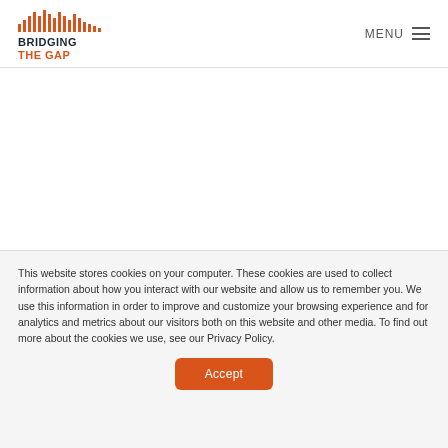BRIDGING THE GAP | MENU
This website stores cookies on your computer. These cookies are used to collect information about how you interact with our website and allow us to remember you. We use this information in order to improve and customize your browsing experience and for analytics and metrics about our visitors both on this website and other media. To find out more about the cookies we use, see our Privacy Policy.